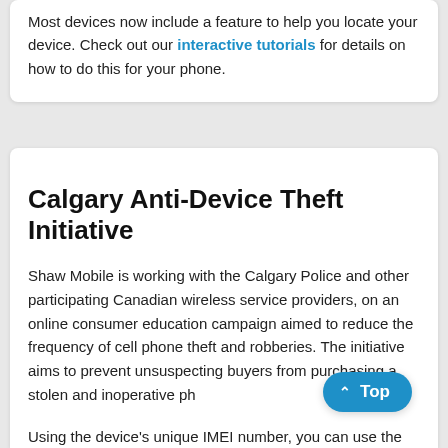Most devices now include a feature to help you locate your device. Check out our interactive tutorials for details on how to do this for your phone.
Calgary Anti-Device Theft Initiative
Shaw Mobile is working with the Calgary Police and other participating Canadian wireless service providers, on an online consumer education campaign aimed to reduce the frequency of cell phone theft and robberies. The initiative aims to prevent unsuspecting buyers from purchasing a stolen and inoperative ph...
Using the device's unique IMEI number, you can use the Device Check D...